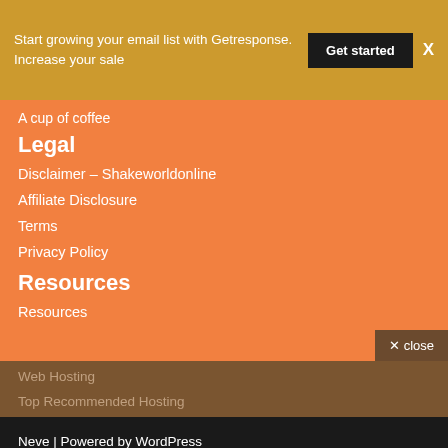Start growing your email list with Getresponse. Increase your sale
Get started
X
A cup of coffee
Legal
Disclaimer – Shakeworldonline
Affiliate Disclosure
Terms
Privacy Policy
Resources
Resources
× close
Web Hosting
Top Recommended Hosting
Neve | Powered by WordPress